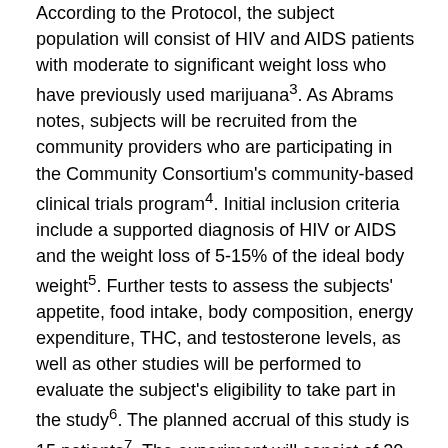According to the Protocol, the subject population will consist of HIV and AIDS patients with moderate to significant weight loss who have previously used marijuana³. As Abrams notes, subjects will be recruited from the community providers who are participating in the Community Consortium's community-based clinical trials program⁴. Initial inclusion criteria include a supported diagnosis of HIV or AIDS and the weight loss of 5-15% of the ideal body weight⁵. Further tests to assess the subjects' appetite, food intake, body composition, energy expenditure, THC, and testosterone levels, as well as other studies will be performed to evaluate the subject's eligibility to take part in the study⁶. The planned accrual of this study is 15 patients⁷. The experiment will consist of 20 inpatient days plus 28 break, or 48 days in total.
As the authors of the study note, using marijuana for the treatment of any disease or condition is highly controversial. Marijuana is a drug that is banned in half of the U. S. states due to its threat to people's health and wellbeing. Abrams